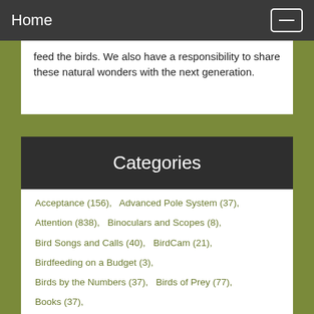Home
feed the birds. We also have a responsibility to share these natural wonders with the next generation.
Categories
Acceptance (156),   Advanced Pole System (37),
Attention (838),   Binoculars and Scopes (8),
Bird Songs and Calls (40),   BirdCam (21),
Birdfeeding on a Budget (3),
Birds by the Numbers (37),   Birds of Prey (77),
Books (37),